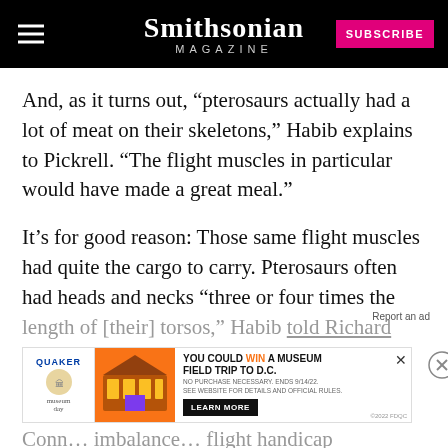Smithsonian MAGAZINE
And, as it turns out, “pterosaurs actually had a lot of meat on their skeletons,” Habib explains to Pickrell. “The flight muscles in particular would have made a great meal.”
It’s for good reason: Those same flight muscles had quite the cargo to carry. Pterosaurs often had heads and necks “three or four times the length of [their] torsos,” Habib told Richard Conn… imbalance… flight handicap